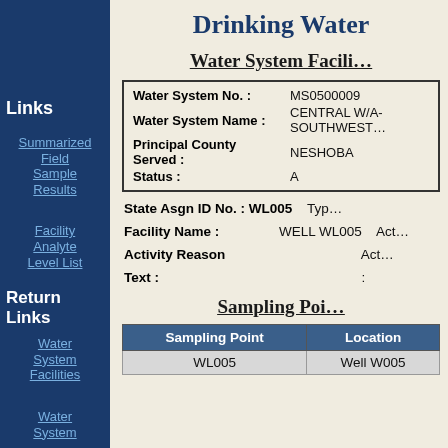Drinking Water
Water System Facili…
| Field | Value |
| --- | --- |
| Water System No. : | MS0500009 |
| Water System Name : | CENTRAL W/A-SOUTHWEST… |
| Principal County Served : | NESHOBA |
| Status : | A |
State Asgn ID No. : WL005   Typ…
Facility Name :   WELL WL005   Act…
Activity Reason Text :   Act…  :
Sampling Poi…
| Sampling Point | Location |
| --- | --- |
| WL005 | Well W005 |
Links
Summarized Field Sample Results
Facility Analyte Level List
Return Links
Water System Facilities
Water System